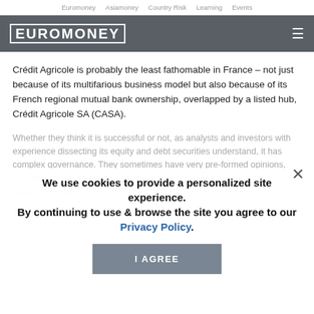Euromoney   Asiamoney   Country Risk   Learning   Events
[Figure (logo): Euromoney logo in white text on dark grey background header bar with hamburger menu icon]
Crédit Agricole is probably the least fathomable in France – not just because of its multifarious business model but also because of its French regional mutual bank ownership, overlapped by a listed hub, Crédit Agricole SA (CASA).
Whether they think it is successful or not, as analysts and investors with experience dissecting its equity and debt securities understand, it has complex governance. They sometimes have very pre-formed opinions, sometimes about the fundamental validity of competition by such a sprawling group.
We use cookies to provide a personalized site experience.
By continuing to use & browse the site you agree to our Privacy Policy.
I AGREE
This is a real problem, at least for outsiders. It is